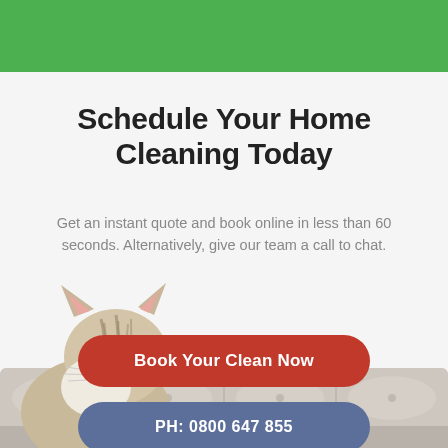[Figure (illustration): Green header bar at the top of the page]
Schedule Your Home Cleaning Today
Get an instant quote and book online in less than 60 seconds. Alternatively, give our team a call to chat.
[Figure (photo): A fluffy tabby cat peeking from the left side, set against a light background with a sofa visible at the bottom]
Book Your Clean Now
PH: 0800 647 855